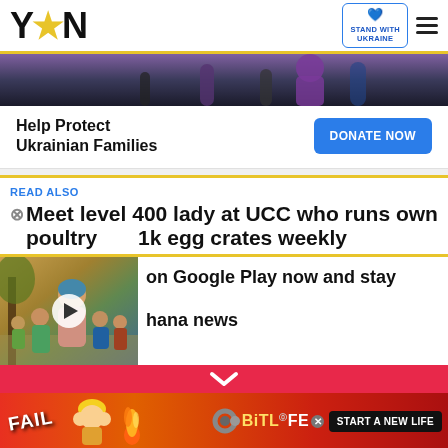YEN — Stand with Ukraine — Navigation
[Figure (photo): Ukraine banner with people and 'Help Protect Ukrainian Families' call to action with DONATE NOW button]
Help Protect Ukrainian Families
DONATE NOW
READ ALSO
Meet level 400 lady at UCC who runs own poultry ... 1k egg crates weekly
[Figure (photo): Group of African women and children outdoors near a tree]
on Google Play now and stay ... hana news
[Figure (infographic): BitLife game advertisement banner: FAIL, cartoon character, fire, snake icon, BitLife logo, START A NEW LIFE]